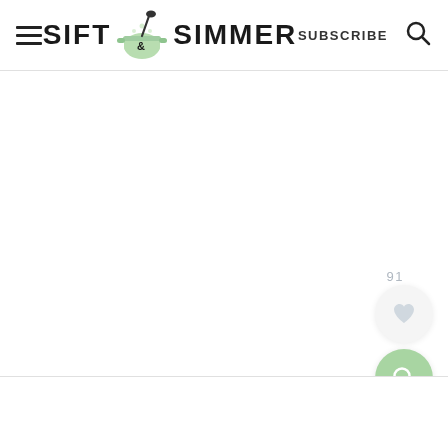[Figure (logo): Sift & Simmer website header with hamburger menu, logo (pot with steam and ladle illustration), SUBSCRIBE text, and search icon]
91
[Figure (illustration): Heart/like button (light gray circle) and green search button (circle) on the right side of the page]